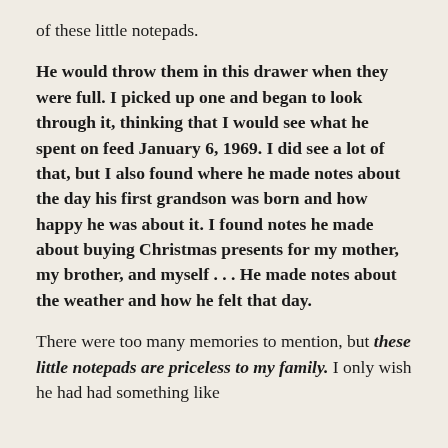of these little notepads.
He would throw them in this drawer when they were full. I picked up one and began to look through it, thinking that I would see what he spent on feed January 6, 1969. I did see a lot of that, but I also found where he made notes about the day his first grandson was born and how happy he was about it. I found notes he made about buying Christmas presents for my mother, my brother, and myself . . . He made notes about the weather and how he felt that day.
There were too many memories to mention, but these little notepads are priceless to my family. I only wish he had had something like